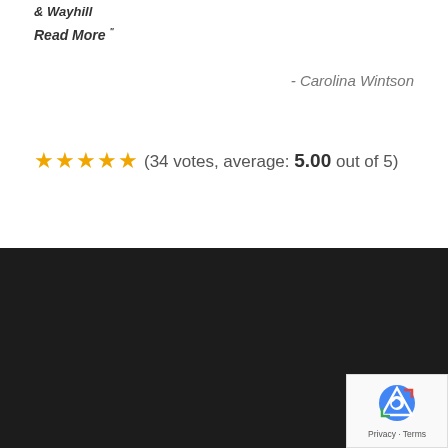& Wayhill
Read More "
- Carolina Wintson
(34 votes, average: 5.00 out of 5)
ABOUT US
Bright Removalists are well renowned for providing the first-class moving services in Adelaide and the surrounding areas. We provide truthful, reasonable and specialized house removalists, furniture removalists, office removalists services in Adelaide.